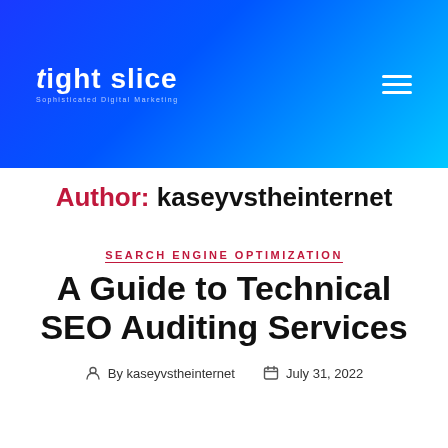[Figure (logo): Tight Slice logo — white text on blue gradient header background with hamburger menu icon]
Author: kaseyvstheinternet
SEARCH ENGINE OPTIMIZATION
A Guide to Technical SEO Auditing Services
By kaseyvstheinternet   July 31, 2022